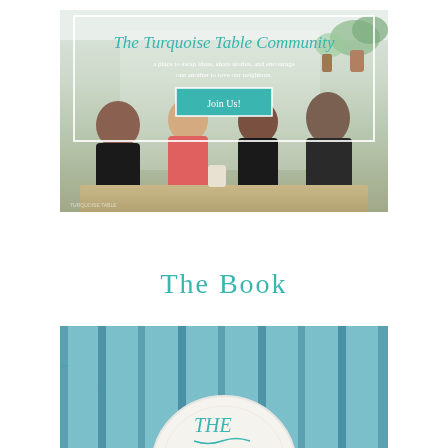[Figure (photo): The Turquoise Table Community banner with photo of four women sitting together at a table on a porch. White border overlay with cursive teal title text, subtitle text in white, and a teal 'Join Us!' button. Plants visible in upper right corner.]
The Book
[Figure (photo): Close-up photo of a white plate on a teal/turquoise wooden plank background, with cursive teal lettering visible on the plate reading 'THE' (partial, image cut off at bottom).]